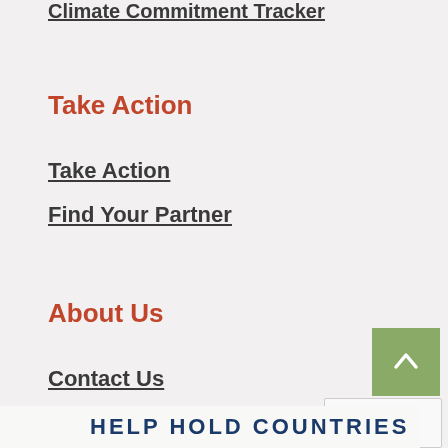Climate Commitment Tracker
Take Action
Take Action
Find Your Partner
About Us
Contact Us
Site Credits
HELP HOLD COUNTRIES